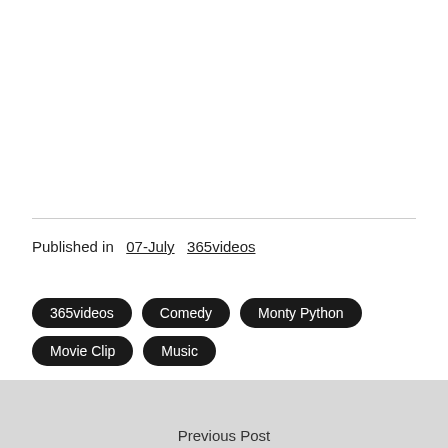Published in   07-July   365videos
365videos
Comedy
Monty Python
Movie Clip
Music
Previous Post